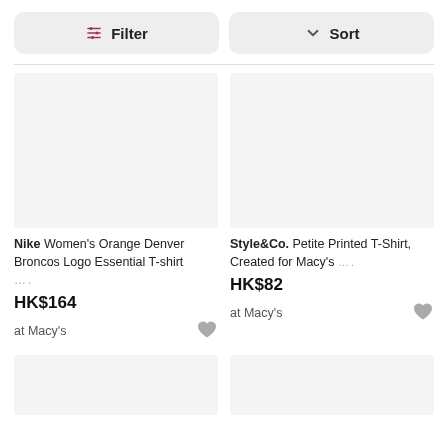[Figure (screenshot): Filter button with sliders icon]
[Figure (screenshot): Sort button with chevron icon]
[Figure (photo): Product image placeholder for Nike Women's Orange Denver Broncos Logo Essential T-shirt]
Nike Women's Orange Denver Broncos Logo Essential T-shirt ....
HK$164
at Macy's
[Figure (photo): Product image placeholder for Style&Co. Petite Printed T-Shirt, Created for Macy's]
Style&Co. Petite Printed T-Shirt, Created for Macy's ....
HK$82
at Macy's